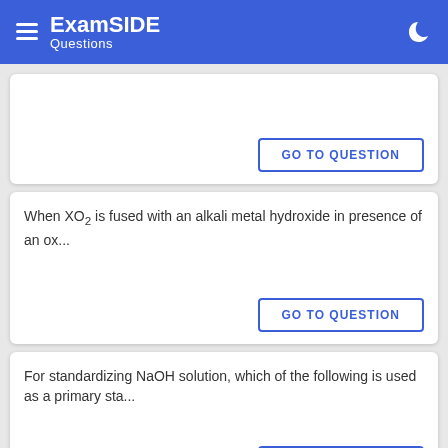ExamSIDE Questions
When XO<sub>2</sub> is fused with an alkali metal hydroxide in presence of an ox...
GO TO QUESTION
For standardizing NaOH solution, which of the following is used as a primary sta...
GO TO QUESTION
GO TO QUESTION